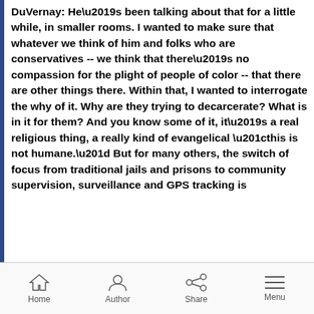DuVernay: He's been talking about that for a little while, in smaller rooms. I wanted to make sure that whatever we think of him and folks who are conservatives -- we think that there's no compassion for the plight of people of color -- that there are other things there. Within that, I wanted to interrogate the why of it. Why are they trying to decarcerate? What is in it for them? And you know some of it, it's a real religious thing, a really kind of evangelical “this is not humane.” But for many others, the switch of focus from traditional jails and prisons to community supervision, surveillance and GPS tracking is
Home  Author  Share  Menu